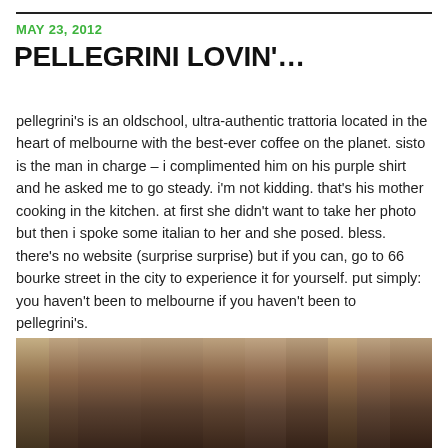MAY 23, 2012
PELLEGRINI LOVIN'…
pellegrini's is an oldschool, ultra-authentic trattoria located in the heart of melbourne with the best-ever coffee on the planet. sisto is the man in charge – i complimented him on his purple shirt and he asked me to go steady. i'm not kidding. that's his mother cooking in the kitchen. at first she didn't want to take her photo but then i spoke some italian to her and she posed. bless. there's no website (surprise surprise) but if you can, go to 66 bourke street in the city to experience it for yourself. put simply: you haven't been to melbourne if you haven't been to pellegrini's.
[Figure (photo): Indoor photo showing a person (likely Sisto) in a restaurant/cafe setting with shelves and equipment visible in the background]